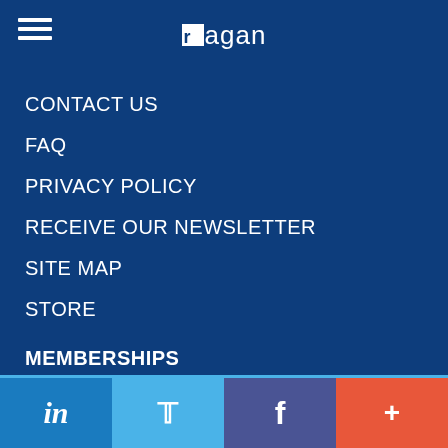ragan
CONTACT US
FAQ
PRIVACY POLICY
RECEIVE OUR NEWSLETTER
SITE MAP
STORE
MEMBERSHIPS
BITS & PIECES
COMMUNICATIONS LEADERSHIP COUNCIL
in | Twitter | f | +